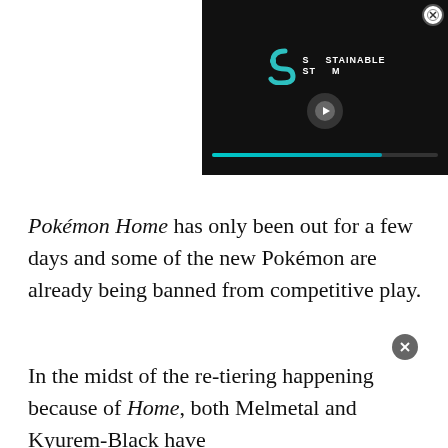[Figure (screenshot): Embedded video player overlay in top-right corner showing 'Sustainable Stream' branding with a play button and teal progress bar on a dark background. A close (X) button appears in the top-right corner of the video.]
Pokémon Home has only been out for a few days and some of the new Pokémon are already being banned from competitive play.
In the midst of the re-tiering happening because of Home, both Melmetal and Kyurem-Black have